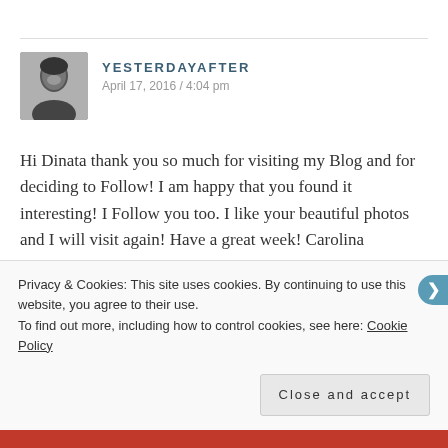[Figure (photo): Small avatar photo of a woman smiling, grayscale]
YESTERDAYAFTER
April 17, 2016 / 4:04 pm
Hi Dinata thank you so much for visiting my Blog and for deciding to Follow! I am happy that you found it interesting! I Follow you too. I like your beautiful photos and I will visit again! Have a great week! Carolina
★ Like
↩ Reply
Privacy & Cookies: This site uses cookies. By continuing to use this website, you agree to their use.
To find out more, including how to control cookies, see here: Cookie Policy

Close and accept